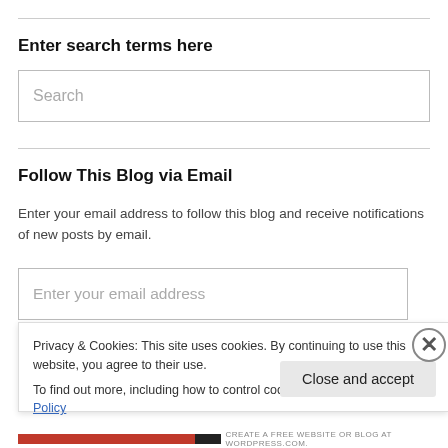Enter search terms here
Search
Follow This Blog via Email
Enter your email address to follow this blog and receive notifications of new posts by email.
Enter your email address
Privacy & Cookies: This site uses cookies. By continuing to use this website, you agree to their use.
To find out more, including how to control cookies, see here: Cookie Policy
Close and accept